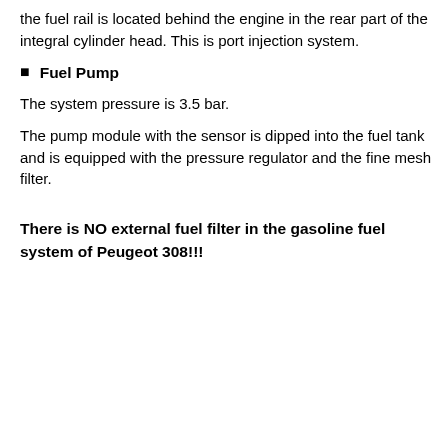the fuel rail is located behind the engine in the rear part of the integral cylinder head. This is port injection system.
Fuel Pump
The system pressure is 3.5 bar.
The pump module with the sensor is dipped into the fuel tank and is equipped with the pressure regulator and the fine mesh filter.
There is NO external fuel filter in the gasoline fuel system of Peugeot 308!!!